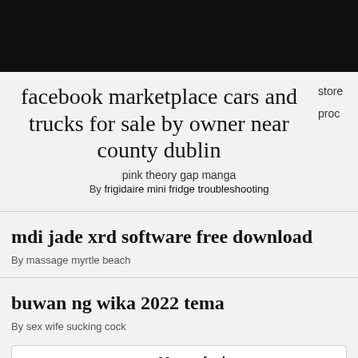facebook marketplace cars and trucks for sale by owner near county dublin
pink theory gap manga
By frigidaire mini fridge troubleshooting
mdi jade xrd software free download
By massage myrtle beach
buwan ng wika 2022 tema
By sex wife sucking cock
samsung a03 core frp bypass